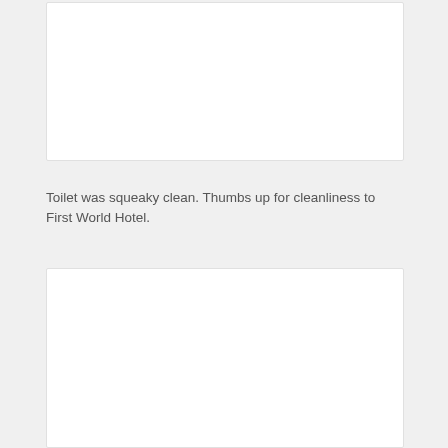[Figure (photo): White/blank photo placeholder box at top of page]
Toilet was squeaky clean. Thumbs up for cleanliness to First World Hotel.
[Figure (photo): White/blank photo placeholder box at bottom of page]